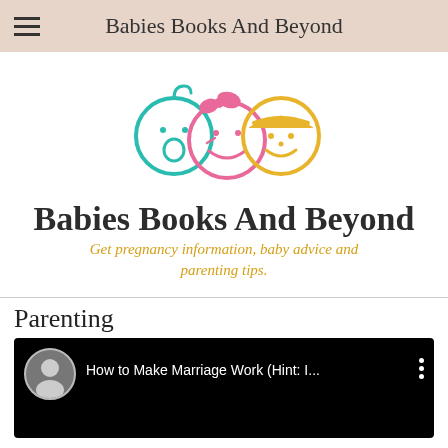Babies Books And Beyond
[Figure (logo): Three cartoon baby/child faces: teal baby, pink girl, yellow boy]
Babies Books And Beyond
Get pregnancy information, baby advice and parenting tips.
Parenting
[Figure (screenshot): YouTube video thumbnail showing a woman with curly hair, title: How to Make Marriage Work (Hint: I...]